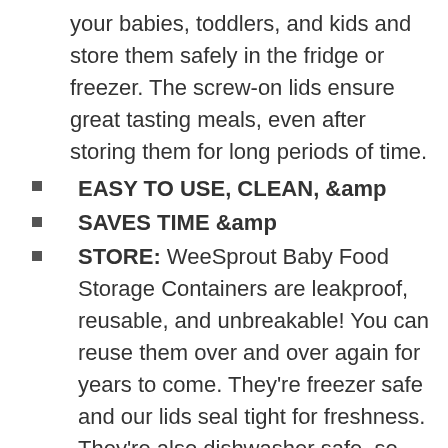your babies, toddlers, and kids and store them safely in the fridge or freezer. The screw-on lids ensure great tasting meals, even after storing them for long periods of time.
EASY TO USE, CLEAN, &amp
SAVES TIME &amp
STORE: WeeSprout Baby Food Storage Containers are leakproof, reusable, and unbreakable! You can reuse them over and over again for years to come. They're freezer safe and our lids seal tight for freshness. They're also dishwasher safe, so cleanup is a snap!
EACH SET INCLUDES: Set of 12 WeeSprout Baby Food Storage Containers Reusable 4oz Jars with Leakproof Lids, plus a BONUS dry erase marker to write the contents, ingredients, dates, or whatever else you'd like on the outside of each lid.
SAFE FOR YOUR FAMILY: WeeSprout Baby Food